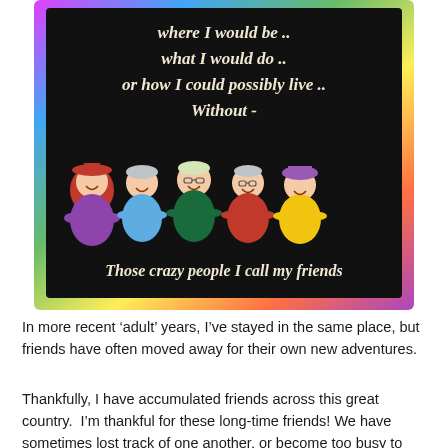[Figure (illustration): Cartoon illustration on black background with rainbow/tie-dye border. Five elderly women cartoon characters standing in a row, laughing and smiling. Text above reads 'where I would be .. what I would do .. or how I could possibly live .. Without -' and text below reads 'Those crazy people I call my friends']
In more recent 'adult' years, I've stayed in the same place, but friends have often moved away for their own new adventures.
Thankfully, I have accumulated friends across this great country.  I'm thankful for these long-time friends! We have sometimes lost track of one another, or become too busy to stay in touch, but when we do, we